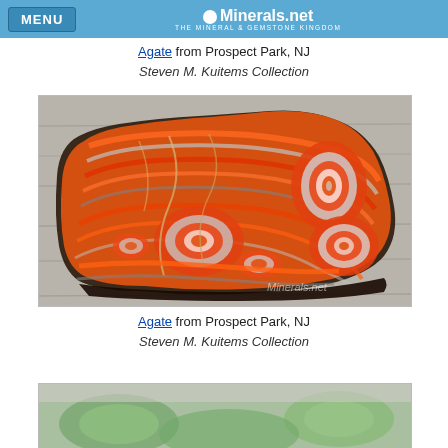MENU | Minerals.net THE MINERAL & GEMSTONE KINGDOM
Agate from Prospect Park, NJ
Steven M. Kuitems Collection
[Figure (photo): Polished agate slab from Prospect Park, NJ showing vivid orange, red, and white concentric banding patterns with eye formations, displayed on a gray surface. Minerals.net watermark visible.]
Agate from Prospect Park, NJ
Steven M. Kuitems Collection
[Figure (photo): Partial view of another mineral specimen, greenish color, partially visible at bottom of page.]